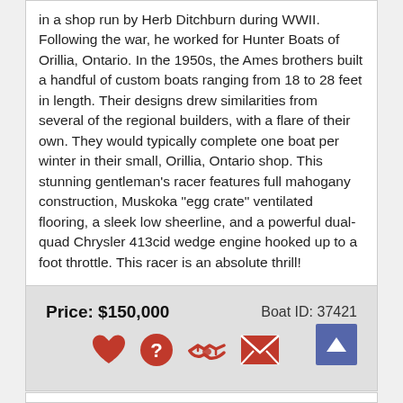in a shop run by Herb Ditchburn during WWII. Following the war, he worked for Hunter Boats of Orillia, Ontario. In the 1950s, the Ames brothers built a handful of custom boats ranging from 18 to 28 feet in length. Their designs drew similarities from several of the regional builders, with a flare of their own. They would typically complete one boat per winter in their small, Orillia, Ontario shop. This stunning gentleman's racer features full mahogany construction, Muskoka "egg crate" ventilated flooring, a sleek low sheerline, and a powerful dual-quad Chrysler 413cid wedge engine hooked up to a foot throttle. This racer is an absolute thrill!
Price: $150,000
Boat ID: 37421
[Figure (infographic): Row of interactive icons: heart (favourite), question mark (info), handshake (deal/contact), envelope (email), and a dark blue up-arrow button.]